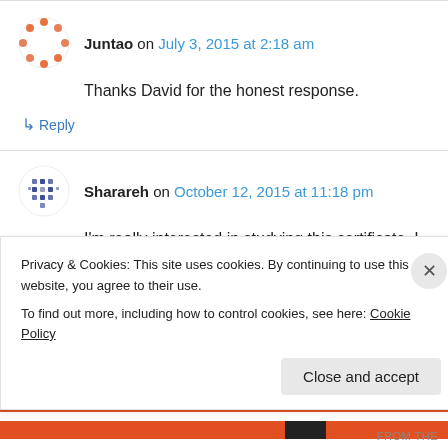Juntao on July 3, 2015 at 2:18 am
Thanks David for the honest response.
↳ Reply
Sharareh on October 12, 2015 at 11:18 pm
I'm really interested in studying this certificate. I
Privacy & Cookies: This site uses cookies. By continuing to use this website, you agree to their use. To find out more, including how to control cookies, see here: Cookie Policy
Close and accept